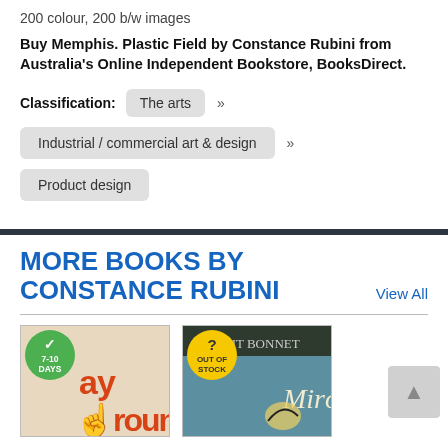200 colour, 200 b/w images
Buy Memphis. Plastic Field by Constance Rubini from Australia's Online Independent Bookstore, BooksDirect.
Classification:  The arts »  Industrial / commercial art & design »  Product design
MORE BOOKS BY CONSTANCE RUBINI
View All
[Figure (photo): Book cover thumbnail with green badge showing '7-10 DAYS' and orange graffiti text]
[Figure (photo): Book cover thumbnail of Miró with yellow 'OUT OF STOCK' badge on teal/dark background]